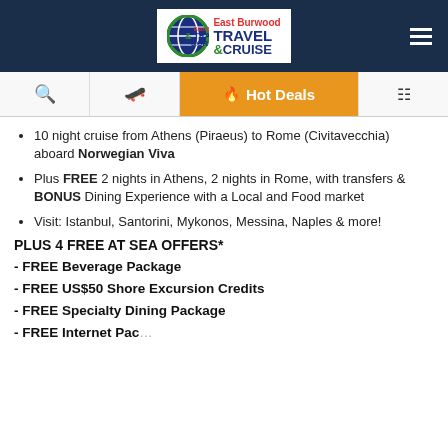East Burwood Travel & Cruise
[Figure (logo): East Burwood Travel & Cruise logo with globe graphic]
10 night cruise from Athens (Piraeus) to Rome (Civitavecchia) aboard Norwegian Viva
Plus FREE 2 nights in Athens, 2 nights in Rome, with transfers & BONUS Dining Experience with a Local and Food market
Visit: Istanbul, Santorini, Mykonos, Messina, Naples & more!
PLUS  4 FREE AT SEA OFFERS*
- FREE Beverage Package
- FREE US$50 Shore Excursion Credits
- FREE Specialty Dining Package
- FREE Internet Package